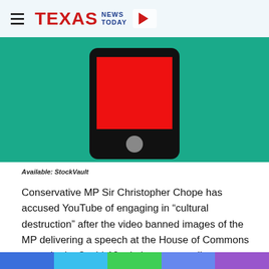TEXAS NEWS TODAY
[Figure (illustration): Illustration of a smartphone with a red screen on a teal/green background]
Available: StockVault
Conservative MP Sir Christopher Chope has accused YouTube of engaging in “cultural destruction” after the video banned images of the MP delivering a speech at the House of Commons on under its Covid-19 misdemeanor policy.